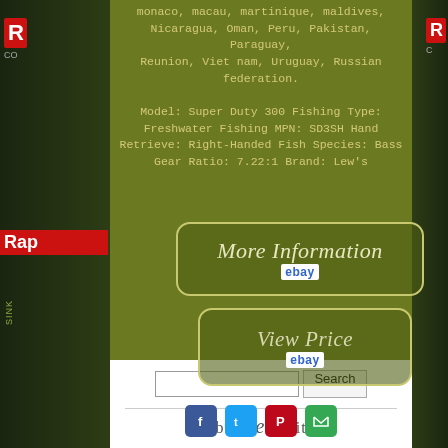monaco, macau, martinique, maldives, Nicaragua, Oman, Peru, Pakistan, Paraguay, Reunion, Viet nam, Uruguay, Russian federation.

Model: Super Duty 300 Fishing Type: Freshwater Fishing MPN: SD3SH Hand Retrieve: Right-Handed Fish Species: Bass Gear Ratio: 7.22:1 Brand: Lew's
[Figure (screenshot): More Information button with eBay logo]
[Figure (screenshot): View Price button with eBay logo]
[Figure (infographic): Social sharing icons row: Facebook (blue), Twitter (light blue), Pinterest (red), Email (green)]
[Figure (screenshot): Search box with Search button and bottom tagline partial text]